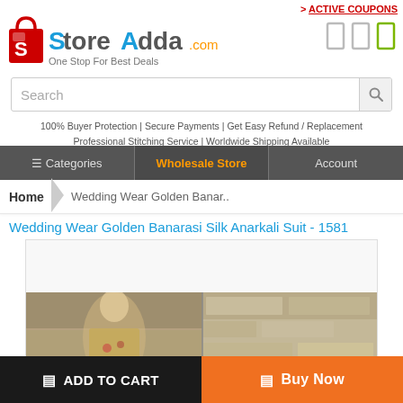> ACTIVE COUPONS
[Figure (logo): StoreAdda.com logo with shopping bag icon and tagline 'One Stop For Best Deals']
[Figure (other): Three icon buttons (two gray, one green outlined rectangles) in the top right]
Search
100% Buyer Protection | Secure Payments | Get Easy Refund / Replacement Professional Stitching Service | Worldwide Shipping Available
☰Categories  |  Wholesale Store  |  Account
Home  >  Wedding Wear Golden Banar..
Wedding Wear Golden Banarasi Silk Anarkali Suit - 1581
[Figure (photo): Product image area showing a model wearing a golden Banarasi silk anarkali suit, photographed outdoors against stone walls]
🛒 ADD TO CART
🛒 Buy Now